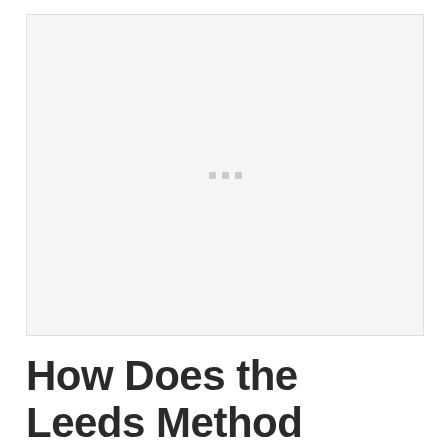[Figure (other): Large placeholder image area with a light grey background, showing three small grey loading indicator squares in the center.]
How Does the Leeds Method Work?